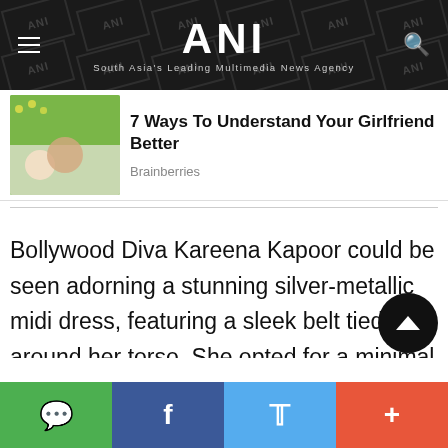ANI — South Asia's Leading Multimedia News Agency
[Figure (photo): Couple embracing outdoors with yellow flowers in background]
7 Ways To Understand Your Girlfriend Better
Brainberries
Bollywood Diva Kareena Kapoor could be seen adorning a stunning silver-metallic midi dress, featuring a sleek belt tied around her torso. She opted for a minimal glam look. Her embellished box clutch complimented the entire look.
WhatsApp | Facebook | Twitter | More